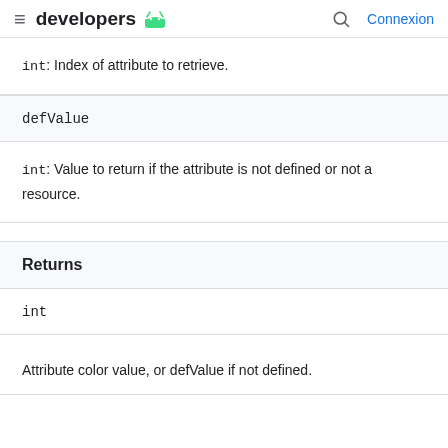developers | Connexion
int: Index of attribute to retrieve.
| defValue |
| --- |
int: Value to return if the attribute is not defined or not a resource.
| Returns |
| --- |
| int |
Attribute color value, or defValue if not defined.